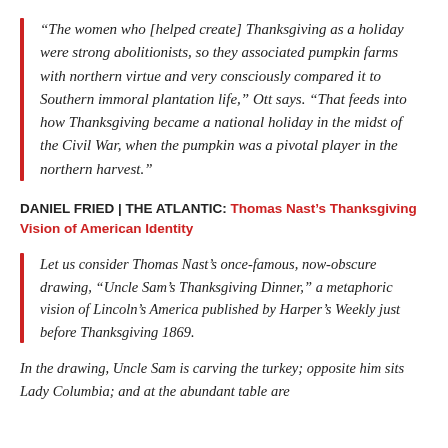“The women who [helped create] Thanksgiving as a holiday were strong abolitionists, so they associated pumpkin farms with northern virtue and very consciously compared it to Southern immoral plantation life,” Ott says. “That feeds into how Thanksgiving became a national holiday in the midst of the Civil War, when the pumpkin was a pivotal player in the northern harvest.”
DANIEL FRIED | THE ATLANTIC: Thomas Nast’s Thanksgiving Vision of American Identity
Let us consider Thomas Nast’s once-famous, now-obscure drawing, “Uncle Sam’s Thanksgiving Dinner,” a metaphoric vision of Lincoln’s America published by Harper’s Weekly just before Thanksgiving 1869.
In the drawing, Uncle Sam is carving the turkey; opposite him sits Lady Columbia; and at the abundant table are